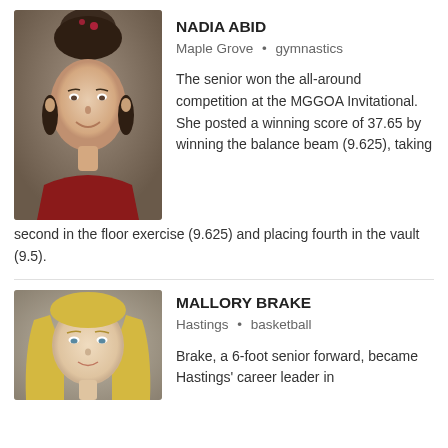NADIA ABID
Maple Grove • gymnastics
[Figure (photo): Portrait photo of Nadia Abid, a young woman with dark hair in a bun, wearing a gymnastics leotard]
The senior won the all-around competition at the MGGOA Invitational. She posted a winning score of 37.65 by winning the balance beam (9.625), taking second in the floor exercise (9.625) and placing fourth in the vault (9.5).
MALLORY BRAKE
Hastings • basketball
[Figure (photo): Portrait photo of Mallory Brake, a young woman with long blonde hair]
Brake, a 6-foot senior forward, became Hastings' career leader in